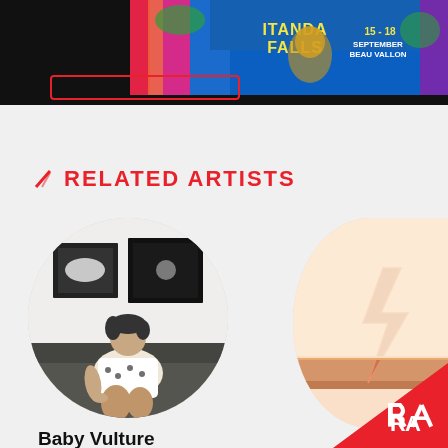[Figure (photo): Colorful festival banner for Itanda Falls event, 15-18 September, Beau Vallon, with vibrant psychedelic artwork]
RELATED ARTISTS
[Figure (photo): Circular artist profile photo of Baby Vulture - a woman with short dark hair sitting on a couch in front of artwork on the wall]
Baby Vulture
Follow
[Figure (photo): Partial circular artist photo on the right side showing a copper/rose gold lightning bolt decoration on a shelf]
[Figure (logo): Resident Advisor (RA) logo in white on red triangle background, bottom right corner]